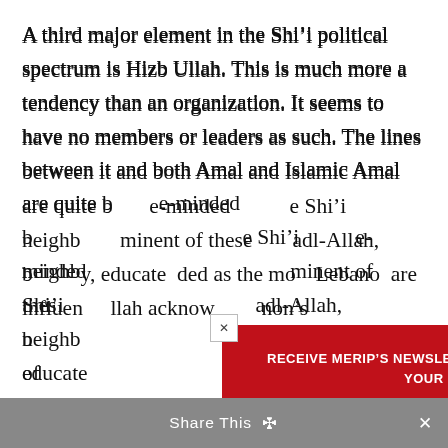A third major element in the Shi’i political spectrum is Hizb Ullah. This is much more a tendency than an organization. It seems to have no members or leaders as such. The lines between it and both Amal and Islamic Amal are quite blurred. e-minded Shi’i neighborhoods. minent of these adl-Allah, b educate ded as the mo Lebano are influen llah acknow non’s
[Figure (other): Newsletter signup popup overlay with red background. Headline: 'RECEIVE MERIP’S NEWSLETTER FOR ALL THE LATEST ANALYSIS. ENTER YOUR EMAIL AND CLICK SIGNUP.' Email input field labeled 'Your Email' and a 'Sign Up' button.]
Share This